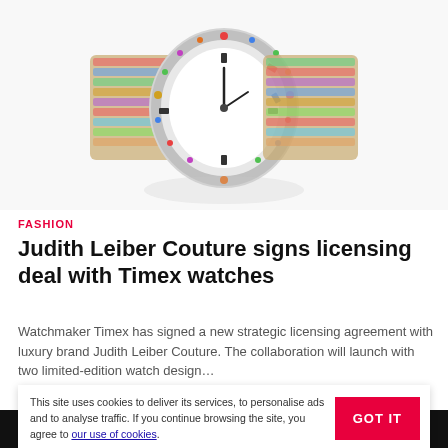[Figure (photo): A luxury bejeweled watch with colorful gemstone-encrusted dial and bracelet, photographed on a white background.]
FASHION
Judith Leiber Couture signs licensing deal with Timex watches
Watchmaker Timex has signed a new strategic licensing agreement with luxury brand Judith Leiber Couture. The collaboration will launch with two limited-edition watch design…
15 Sept 2021
This site uses cookies to deliver its services, to personalise ads and to analyse traffic. If you continue browsing the site, you agree to our use of cookies.